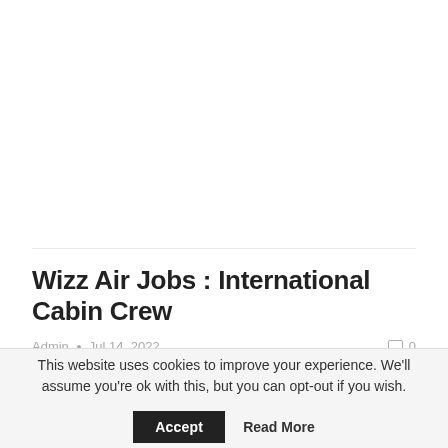Wizz Air Jobs : International Cabin Crew
Admin • Jul 14, 2022    0
Cabin Crew WIZZ Network Have you ever dreamed of a unique place of work while being on the go and meeting new people? We have good news for you: our Cabin Crew life is just like that! We are…
This website uses cookies to improve your experience. We'll assume you're ok with this, but you can opt-out if you wish.  Accept  Read More